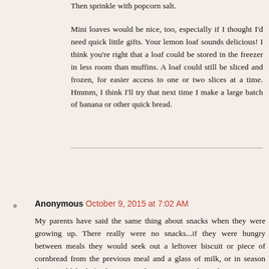Then sprinkle with popcorn salt. Mini loaves would be nice, too, especially if I thought I'd need quick little gifts. Your lemon loaf sounds delicious! I think you're right that a loaf could be stored in the freezer in less room than muffins. A loaf could still be sliced and frozen, for easier access to one or two slices at a time. Hmmm, I think I'll try that next time I make a large batch of banana or other quick bread.
Reply
Anonymous  October 9, 2015 at 7:02 AM
My parents have said the same thing about snacks when they were growing up. There really were no snacks...if they were hungry between meals they would seek out a leftover biscuit or piece of cornbread from the previous meal and a glass of milk, or in season they would look for berries on the vine or peaches, plums, pears or apples on the trees, or they have even talked about cracking hickory nuts or